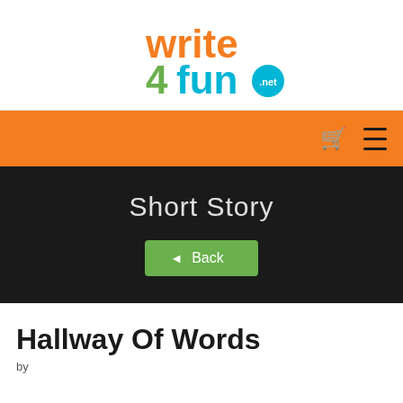[Figure (logo): write4fun.net logo with orange 'write', green '4fun', and teal '.net' badge]
Navigation bar with cart and menu icons on orange background
Short Story
◄ Back
Hallway Of Words